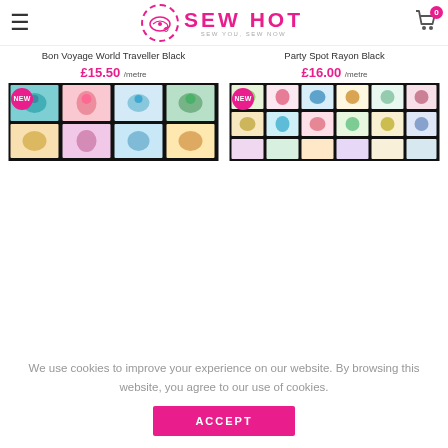Sew Hot – sew you, sew now
Bon Voyage World Traveller Black
£15.50 /metre
Party Spot Rayon Black
£16.00 /metre
[Figure (photo): Fabric with colorful animal portraits in grid squares on black background, with NEW badge]
[Figure (photo): Fabric with colorful animal portraits in grid squares on light background, with NEW badge]
We use cookies to improve your experience on our website. By browsing this website, you agree to our use of cookies.
ACCEPT